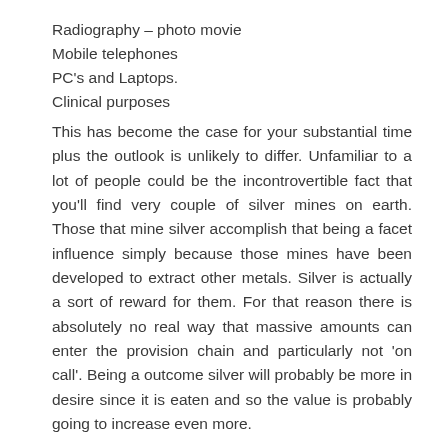Radiography – photo movie
Mobile telephones
PC's and Laptops.
Clinical purposes
This has become the case for your substantial time plus the outlook is unlikely to differ. Unfamiliar to a lot of people could be the incontrovertible fact that you'll find very couple of silver mines on earth. Those that mine silver accomplish that being a facet influence simply because those mines have been developed to extract other metals. Silver is actually a sort of reward for them. For that reason there is absolutely no real way that massive amounts can enter the provision chain and particularly not 'on call'. Being a outcome silver will probably be more in desire since it is eaten and so the value is probably going to increase even more.